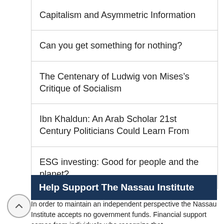Capitalism and Asymmetric Information
Can you get something for nothing?
The Centenary of Ludwig von Mises’s Critique of Socialism
Ibn Khaldun: An Arab Scholar 21st Century Politicians Could Learn From
ESG investing: Good for people and the planet?
Help Support The Nassau Institute
In order to maintain an independent perspective the Nassau Institute accepts no government funds. Financial support comes from individuals who recognize that